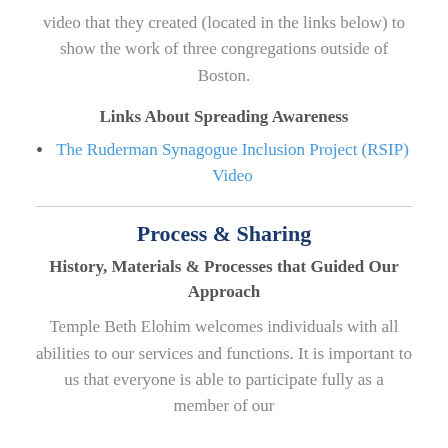video that they created (located in the links below) to show the work of three congregations outside of Boston.
Links About Spreading Awareness
The Ruderman Synagogue Inclusion Project (RSIP) Video
Process & Sharing
History, Materials & Processes that Guided Our Approach
Temple Beth Elohim welcomes individuals with all abilities to our services and functions. It is important to us that everyone is able to participate fully as a member of our